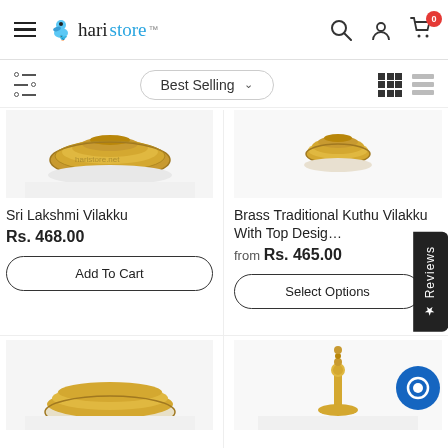[Figure (screenshot): Haristore e-commerce website screenshot showing product listing page with navigation header, filter/sort bar, and product cards for brass lamps]
haristore™ — Best Selling sort dropdown, search, account, and cart icons with badge 0
Sri Lakshmi Vilakku
Rs. 468.00
Add To Cart
Brass Traditional Kuthu Vilakku With Top Design
from Rs. 465.00
Select Options
Reviews